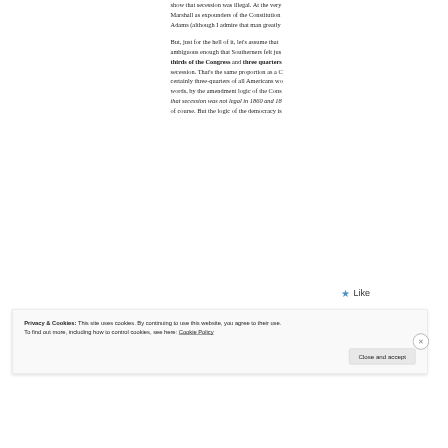show that secession was illegal. At the very… Marshall as expounders of the Constitution… Adams (although I admire that man greatly…
But, just for the hell of it, let's assume that… ambiguous enough that Southerners felt jus… thirds of the Congress and three quarters… secession. That's the same proportion as a C… certainly three-quarters of all Americans wo… words, by the amendment logic of the Cons… that secession was not legal in 1860 and 18… of course. But the logic of the democracy is…
★ Like
Privacy & Cookies: This site uses cookies. By continuing to use this website, you agree to their use.
To find out more, including how to control cookies, see here: Cookie Policy
Close and accept